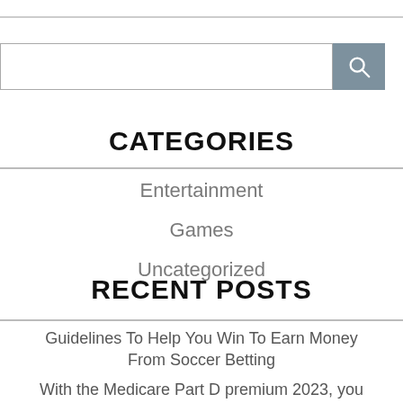CATEGORIES
Entertainment
Games
Uncategorized
RECENT POSTS
Guidelines To Help You Win To Earn Money From Soccer Betting
With the Medicare Part D premium 2023, you